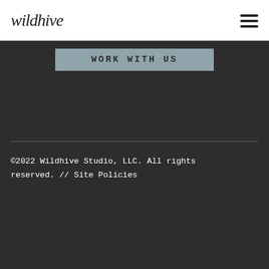wildhive
[Figure (other): Hamburger menu icon with three horizontal lines]
WORK WITH US
©2022 Wildhive Studio, LLC. All rights reserved. // Site Policies